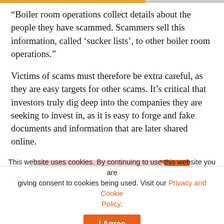“Boiler room operations collect details about the people they have scammed. Scammers sell this information, called ‘sucker lists’, to other boiler room operations.”
Victims of scams must therefore be extra careful, as they are easy targets for other scams. It’s critical that investors truly dig deep into the companies they are seeking to invest in, as it is easy to forge and fake documents and information that are later shared online.
[Figure (other): Advertisement for SwipedOn: pink/salmon background with orange corner triangle. Logo reads 'swipedon' with 'on' in orange. Tagline: 'Reinvent your welcome with contactless sign in']
This website uses cookies. By continuing to use this website you are giving consent to cookies being used. Visit our Privacy and Cookie Policy.